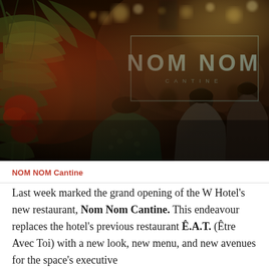[Figure (photo): Dark atmospheric interior photo of a crowded restaurant/bar venue at night. On the left are tropical plants with red flowers and yellow-green foliage. In the center-background is a illuminated sign reading 'NOM NOM CANTINE' inside a rectangular border. People are visible in the background. Warm bokeh lights glow overhead.]
NOM NOM Cantine
Last week marked the grand opening of the W Hotel's new restaurant, Nom Nom Cantine. This endeavour replaces the hotel's previous restaurant Ê.A.T. (Être Avec Toi) with a new look, new menu, and new avenues for the space's executive